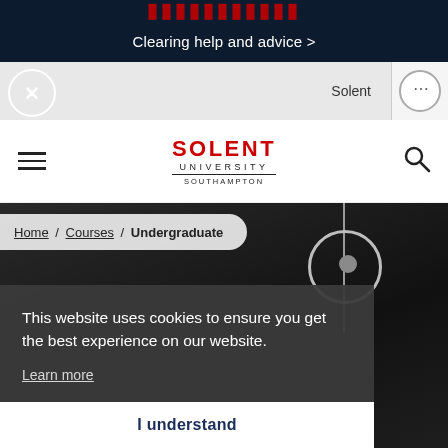[Figure (screenshot): Top dark navy banner with neon red text partially visible at top and white text 'Clearing help and advice >' centered below]
Clearing help and advice >
[Figure (screenshot): Secondary browser bar with close (X) button on left, Solent tab in center-right, and dots menu button on far right]
[Figure (logo): Solent University Southampton logo in red and black with hamburger menu on left and search icon on right]
SOLENT
UNIVERSITY
SOUTHAMPTON
Home / Courses / Undergraduate
This website uses cookies to ensure you get the best experience on our website.
Learn more
I understand